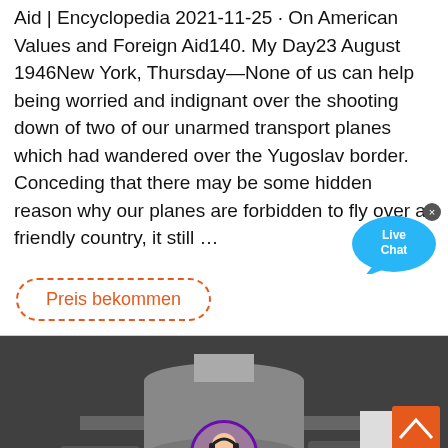Aid | Encyclopedia 2021-11-25 · On American Values and Foreign Aid140. My Day23 August 1946New York, Thursday—None of us can help being worried and indignant over the shooting down of two of our unarmed transport planes which had wandered over the Yugoslav border. Conceding that there may be some hidden reason why our planes are forbidden to fly over a friendly country, it still …
[Figure (other): Live Chat bubble icon — blue speech bubble with 'Live Chat' text and orange X close button]
Preis bekommen
[Figure (photo): Industrial machinery — large cylindrical metal equipment in a dark industrial setting]
[Figure (other): Customer service avatar — woman with headset in circular purple-bordered frame]
Nachricht hinterlassen
Online chatten